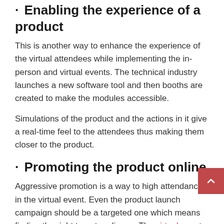· Enabling the experience of a product
This is another way to enhance the experience of the virtual attendees while implementing the in-person and virtual events. The technical industry launches a new software tool and then booths are created to make the modules accessible.
Simulations of the product and the actions in it give a real-time feel to the attendees thus making them closer to the product.
· Promoting the product online
Aggressive promotion is a way to high attendance in the virtual event. Even the product launch campaign should be a targeted one which means finding the right target audience. The virtual event software helps in personalizing the launch for the audience. It is a great place to advertise the events.
Social media is a great place to drop hints about the